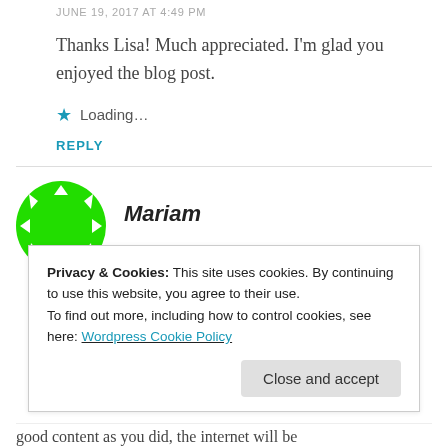JUNE 19, 2017 AT 4:49 PM
Thanks Lisa! Much appreciated. I'm glad you enjoyed the blog post.
★ Loading…
REPLY
Mariam
JUNE 13, 2017 AT 3:57 PM
Privacy & Cookies: This site uses cookies. By continuing to use this website, you agree to their use.
To find out more, including how to control cookies, see here: Wordpress Cookie Policy
Close and accept
good content as you did, the internet will be